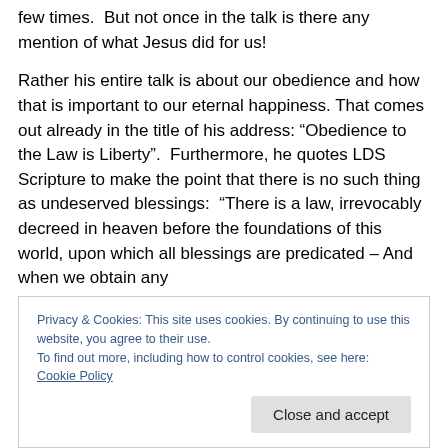few times.  But not once in the talk is there any mention of what Jesus did for us!
Rather his entire talk is about our obedience and how that is important to our eternal happiness. That comes out already in the title of his address: “Obedience to the Law is Liberty”.  Furthermore, he quotes LDS Scripture to make the point that there is no such thing as undeserved blessings:  “There is a law, irrevocably decreed in heaven before the foundations of this world, upon which all blessings are predicated – And when we obtain any
Privacy & Cookies: This site uses cookies. By continuing to use this website, you agree to their use.
To find out more, including how to control cookies, see here: Cookie Policy